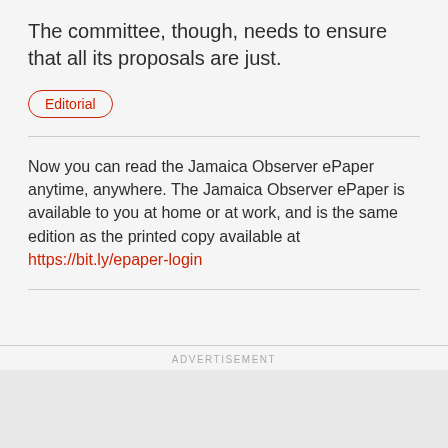The committee, though, needs to ensure that all its proposals are just.
Editorial
Now you can read the Jamaica Observer ePaper anytime, anywhere. The Jamaica Observer ePaper is available to you at home or at work, and is the same edition as the printed copy available at https://bit.ly/epaper-login
ADVERTISEMENT